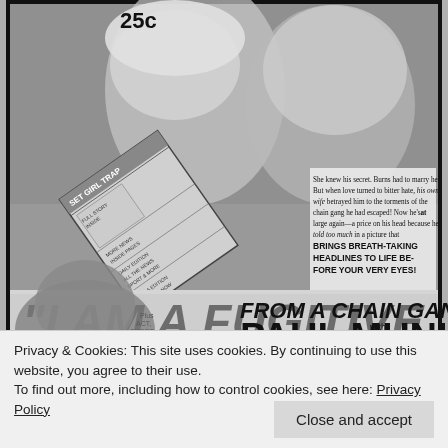[Figure (illustration): Vintage movie advertisement poster for 'I Am a Fugitive from a Chain Gang' with Paul Muni. Black and white newspaper ad showing two faces (a woman and a man), a newspaper prop reading 'Sex Girl Trap', promotional text about the film's plot, large italic movie title, and additional text listing 'Plus ACT, SPORT, NEWS.' Price shown as 25c.]
Privacy & Cookies: This site uses cookies. By continuing to use this website, you agree to their use.
To find out more, including how to control cookies, see here: Privacy Policy
Close and accept